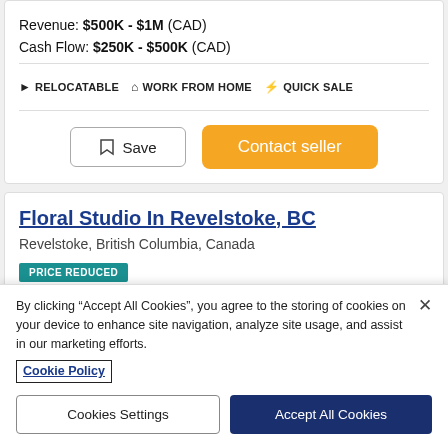Revenue: $500K - $1M (CAD)
Cash Flow: $250K - $500K (CAD)
RELOCATABLE   WORK FROM HOME   QUICK SALE
Save   Contact seller
Floral Studio In Revelstoke, BC
Revelstoke, British Columbia, Canada
PRICE REDUCED
By clicking “Accept All Cookies”, you agree to the storing of cookies on your device to enhance site navigation, analyze site usage, and assist in our marketing efforts.
Cookie Policy
Cookies Settings   Accept All Cookies